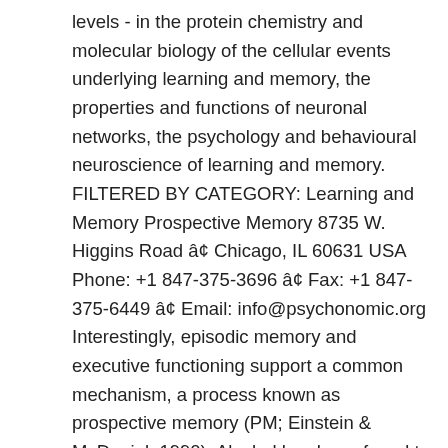levels - in the protein chemistry and molecular biology of the cellular events underlying learning and memory, the properties and functions of neuronal networks, the psychology and behavioural neuroscience of learning and memory. FILTERED BY CATEGORY: Learning and Memory Prospective Memory 8735 W. Higgins Road â¢ Chicago, IL 60631 USA Phone: +1 847-375-3696 â¢ Fax: +1 847-375-6449 â¢ Email: info@psychonomic.org Interestingly, episodic memory and executive functioning support a common mechanism, a process known as prospective memory (PM; Einstein & McDaniel, 1990). Alcohol has been found to impair this ability. C. Semantic memory is a long-term memory system that stores general knowledge. inquiry learning model in three pilot classes in attempt to increase metacognition knowledge and awareness of prospective physics teacher-students at IKIP Mataram, Indonesia. It is time to triple your memory Join over